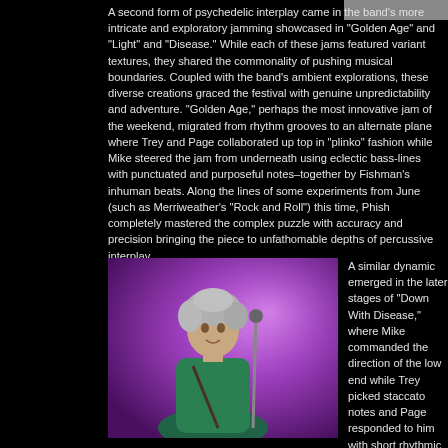A second form of psychedelic interplay came in the band's more intricate and exploratory jamming showcased in "Golden Age" and "Light" and "Disease." While each of these jams featured variant textures, they shared the commonality of pushing musical boundaries. Coupled with the band's ambient explorations, these diverse creations graced the festival with genuine unpredictability and adventure. "Golden Age," perhaps the most innovative jam of the weekend, migrated from rhythm grooves to an alternate plane where Trey and Page collaborated up top in "plinko" fashion while Mike steered the jam from underneath using eclectic bass-lines with punctuated and purposeful notes–all held together by Fishman's inhuman beats. Along the lines of some experiments from June (such as Merriweather's "Rock and Roll") this time, Phish completely mastered the complex puzzle with accuracy and precision bringing the piece to unfathomable depths of percussive interplay.
[Figure (photo): Musician performing on stage with purple/pink stage lighting in the background, wearing a teal shirt, with a microphone stand in front.]
A similar dynamic emerged in the later stages of "Down With Disease," where Mike commanded the direction of the low end while Trey picked staccato notes and Page responded to him with short rhythmic patterns. Fishman even followed Trey and Page in this jam, leaving Mike to be the sole commander of the low end, with he providing a dark and abstract color to the music. "Light" provided another plunge into psychedelic waters w